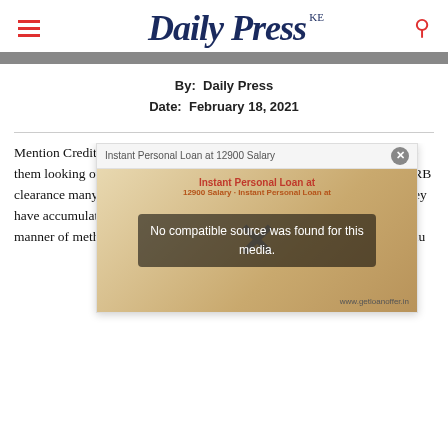Daily Press KE
By:  Daily Press
Date:  February 18, 2021
Mention Credit Reference Bureau (CRB) to any Kenyan and you will have them looking over their shoulders behind their skulls. At the mention of CRB clearance many ordinary Kenyans will be counting the number of loans they have accumulated that are in default status. Many have sort out for all manner of methods to get their names cleared with Credit Reference Bureau
[Figure (screenshot): Ad overlay showing 'Instant Personal Loan at 12900 Salary' advertisement with error message 'No compatible source was found for this media.' and an X close button. Background shows a loan advertisement image with text in Hindi/English and URL www.getloanoffer.in]